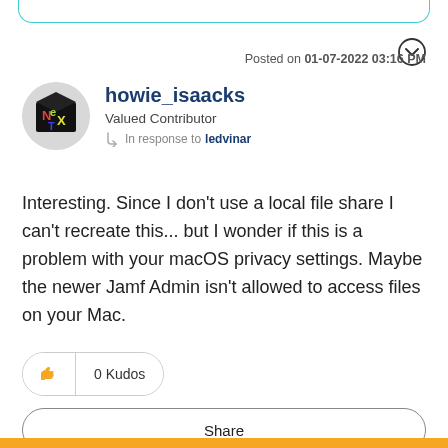Posted on 01-07-2022 03:16 PM
[Figure (illustration): User avatar: cube-shaped NeXT logo icon on grey circular background]
howie_isaacks
Valued Contributor
In response to ledvinar
Interesting. Since I don't use a local file share I can't recreate this... but I wonder if this is a problem with your macOS privacy settings. Maybe the newer Jamf Admin isn't allowed to access files on your Mac.
0 Kudos
Share